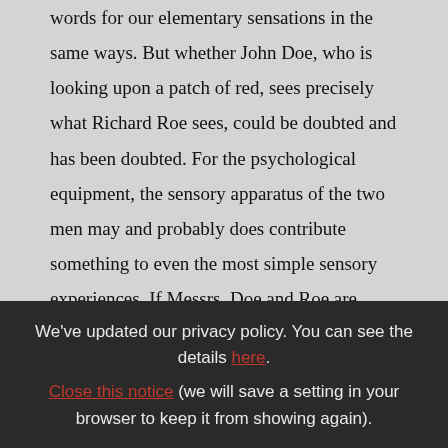words for our elementary sensations in the same ways. But whether John Doe, who is looking upon a patch of red, sees precisely what Richard Roe sees, could be doubted and has been doubted. For the psychological equipment, the sensory apparatus of the two men may and probably does contribute something to even the most simple sensory experiences. If Messrs. Doe and Roe are exactly alike in all relevant ways, then one may
We've updated our privacy policy. You can see the details here. Close this notice (we will save a setting in your browser to keep it from showing again).